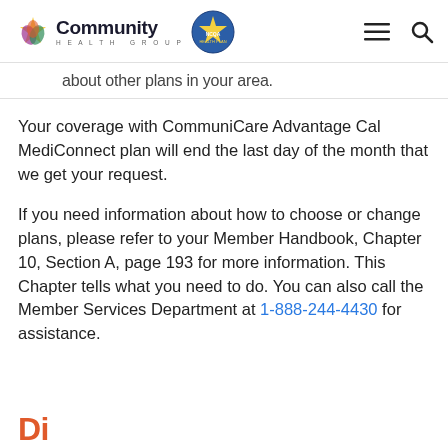Community Health Group / NCQA Health Plan [logo header with hamburger menu and search icon]
about other plans in your area.
Your coverage with CommuniCare Advantage Cal MediConnect plan will end the last day of the month that we get your request.
If you need information about how to choose or change plans, please refer to your Member Handbook, Chapter 10, Section A, page 193 for more information. This Chapter tells what you need to do. You can also call the Member Services Department at 1-888-244-4430 for assistance.
Di...